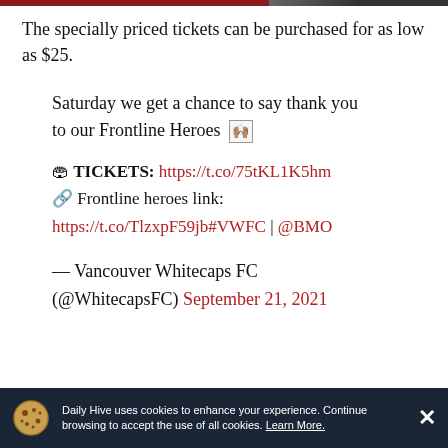The specially priced tickets can be purchased for as low as $25.
Saturday we get a chance to say thank you to our Frontline Heroes 🙌🏽
🎟 TICKETS: https://t.co/75tKL1K5hm
🔗 Frontline heroes link:
https://t.co/TlzxpF59jb#VWFC | @BMO
— Vancouver Whitecaps FC (@WhitecapsFC) September 21, 2021
Daily Hive uses cookies to enhance your experience. Continue browsing to accept the use of all cookies. Learn More.